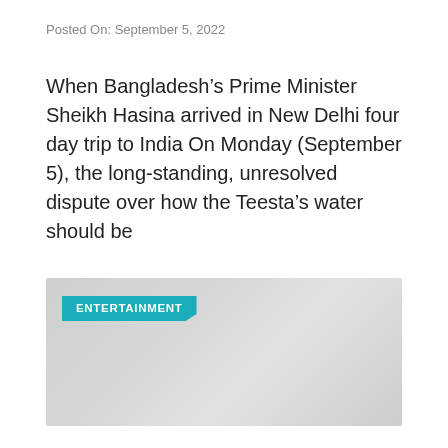Posted On: September 5, 2022
When Bangladesh’s Prime Minister Sheikh Hasina arrived in New Delhi four day trip to India On Monday (September 5), the long-standing, unresolved dispute over how the Teesta’s water should be
[Figure (other): Gray placeholder image with an 'ENTERTAINMENT' teal category label tag in the top-left corner]